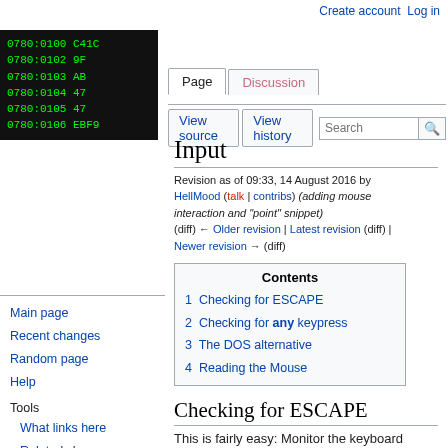Create account  Log in
[Figure (screenshot): Black terminal window showing assembly code addresses: 0780:0100 C41C, 0780:0102 9F, 0780:0103 AB, 0780:0104 47, 0780:0105 47, 0780:0106 EBF9]
Page  Discussion  View source  View history  Search
Input
Revision as of 09:33, 14 August 2016 by HellMood (talk | contribs) (adding mouse interaction and "point" snippet)
(diff) ← Older revision | Latest revision (diff) | Newer revision → (diff)
1  Checking for ESCAPE
2  Checking for any keypress
3  The DOS alternative
4  Reading the Mouse
Checking for ESCAPE
This is fairly easy: Monitor the keyboard
Main page
Recent changes
Random page
Help
Tools
What links here
Related changes
Special pages
Printable version
Permanent link
Page information
Cite this page